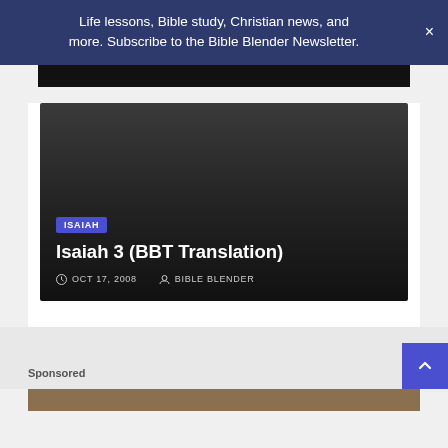Life lessons, Bible study, Christian news, and more. Subscribe to the Bible Blender Newsletter.
[Figure (screenshot): Dark article card for Isaiah 3 (BBT Translation) with date OCT 17, 2008 and author BIBLE BLENDER, with ISAIAH category tag]
Sponsored